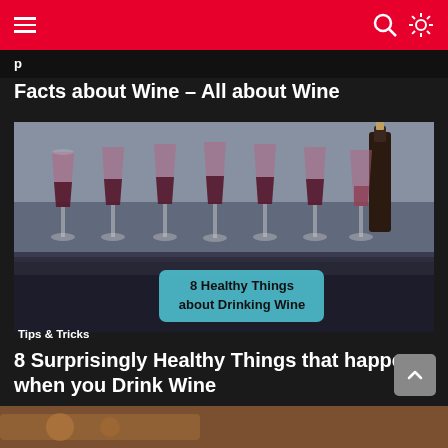Navigation bar with hamburger menu and search/settings icons
Facts about Wine – All about Wine
[Figure (photo): Multiple wine glasses filled with red wine lined up on a table, with a wine bottle in the background. Overlay text reads '8 Healthy Things about Drinking Wine' in a cyan/teal rounded rectangle.]
Tips & Tricks
8 Surprisingly Healthy Things that happen when you Drink Wine
[Figure (photo): Partial image of food/drink at the bottom of the page]